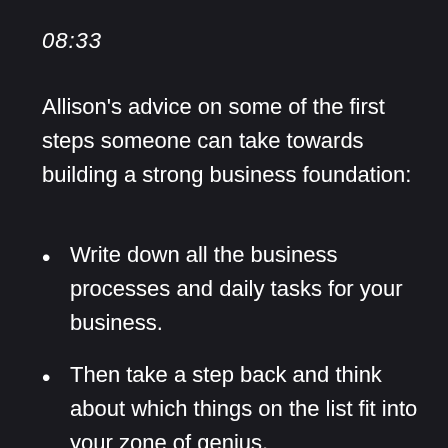08:33
Allison's advice on some of the first steps someone can take towards building a strong business foundation:
Write down all the business processes and daily tasks for your business.
Then take a step back and think about which things on the list fit into your zone of genius.
Try to spend 80% of your time with the things that are in your zone of